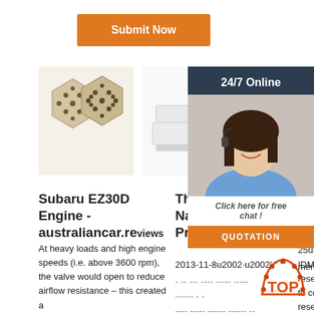[Figure (other): Orange Submit Now button]
[Figure (photo): Three product images: honeycomb ceramic pieces, white rectangular blocks, brown stone/ceramic block]
[Figure (other): 24/7 Online chat overlay with customer service representative photo, Click here for free chat text, and QUOTATION button]
Subaru EZ30D Engine - australiancar.reviews
At heavy loads and high engine speeds (i.e. above 3600 rpm), the valve would open to reduce airflow resistance – this created a
The Stanford Natural Language Processing Group
2013-11-8u2002·u2002' " ''
- -- --- ---- ----- ----- ------ - -
Associate Membership
2021-1 25u200 membership to the IDM is for up-and-coming researchers fully committed to conducting their research in the
[Figure (logo): TOP badge/logo in orange and red]